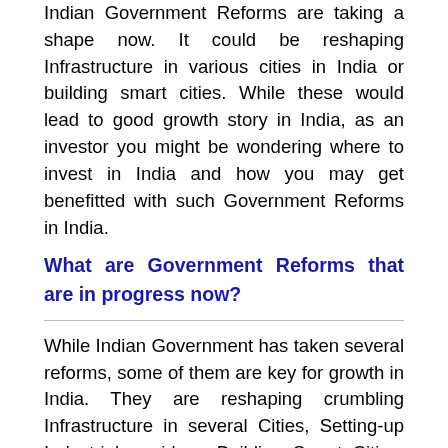Indian Government Reforms are taking a shape now. It could be reshaping Infrastructure in various cities in India or building smart cities. While these would lead to good growth story in India, as an investor you might be wondering where to invest in India and how you may get benefitted with such Government Reforms in India.
What are Government Reforms that are in progress now?
While Indian Government has taken several reforms, some of them are key for growth in India. They are reshaping crumbling Infrastructure in several Cities, Setting-up Industrial corridors, Building Smart Cities, building Express Highways and Super-Fast Bullet Trains. Make in India campaign has been kicked-off very well, however